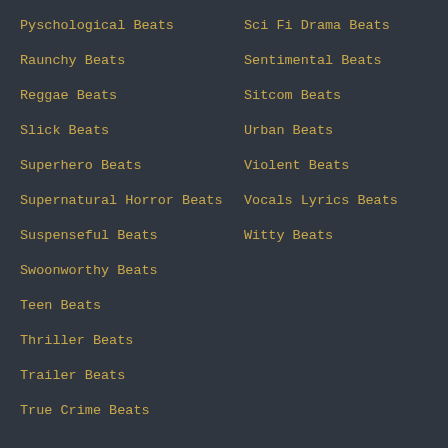Pyschological Beats
Sci Fi Drama Beats
Raunchy Beats
Sentimental Beats
Reggae Beats
Sitcom Beats
Slick Beats
Urban Beats
Superhero Beats
Violent Beats
Supernatural Horror Beats
Vocals Lyrics Beats
Suspenseful Beats
Witty Beats
Swoonworthy Beats
Teen Beats
Thriller Beats
Trailer Beats
True Crime Beats